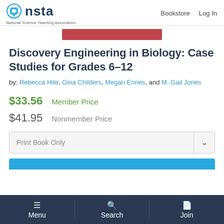nsta | National Science Teaching Association | Bookstore | Log In
Discovery Engineering in Biology: Case Studies for Grades 6–12
by: Rebecca Hite, Gina Childers, Megan Ennes, and M. Gail Jones
$33.56  Member Price
$41.95  Nonmember Price
Print Book Only
Menu | Search | Join